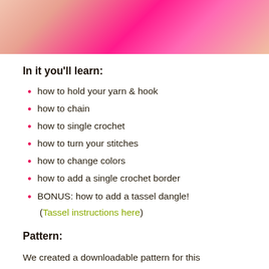[Figure (photo): Close-up photo of bright pink/magenta yarn or crochet work being held by fingers]
In it you'll learn:
how to hold your yarn & hook
how to chain
how to single crochet
how to turn your stitches
how to change colors
how to add a single crochet border
BONUS: how to add a tassel dangle! (Tassel instructions here)
Pattern:
We created a downloadable pattern for this